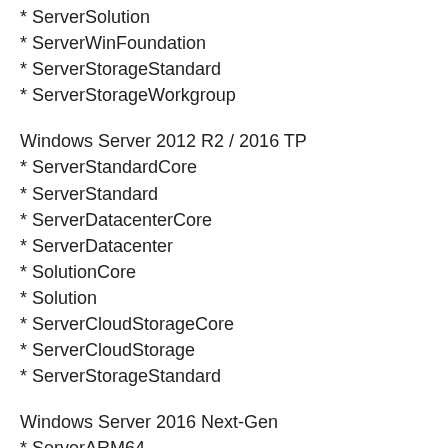* ServerSolution
* ServerWinFoundation
* ServerStorageStandard
* ServerStorageWorkgroup
Windows Server 2012 R2 / 2016 TP
* ServerStandardCore
* ServerStandard
* ServerDatacenterCore
* ServerDatacenter
* SolutionCore
* Solution
* ServerCloudStorageCore
* ServerCloudStorage
* ServerStorageStandard
Windows Server 2016 Next-Gen
* ServerARM64
* ServerHI
методом KMS
* Office 2010
* Office 2013